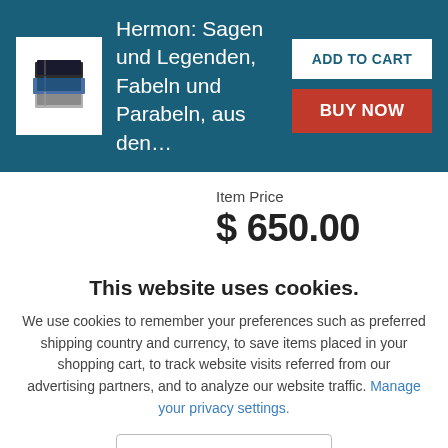Hermon: Sagen und Legenden, Fabeln und Parabeln, aus den…
Item Price
$650.00
Or just $625.00 with a Bibliophiles Club Membership
$3.50 Shipping to USA
Standard delivery: 7 to 14 days
This website uses cookies.
We use cookies to remember your preferences such as preferred shipping country and currency, to save items placed in your shopping cart, to track website visits referred from our advertising partners, and to analyze our website traffic. Manage your privacy settings.